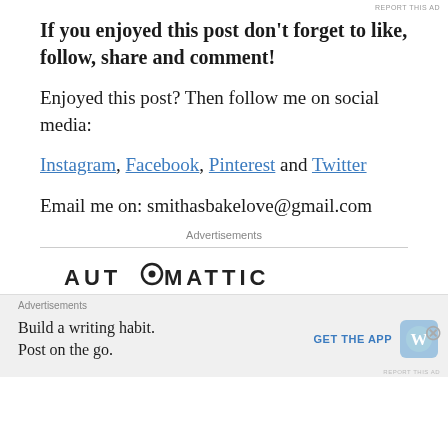REPORT THIS AD
If you enjoyed this post don't forget to like, follow, share and comment!
Enjoyed this post? Then follow me on social media:
Instagram, Facebook, Pinterest and Twitter
Email me on: smithasbakelove@gmail.com
Advertisements
[Figure (logo): AUTOMATTIC logo with circular 'O' icon]
Advertisements
Build a writing habit.
Post on the go.
GET THE APP